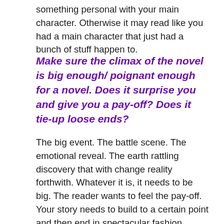something personal with your main character. Otherwise it may read like you had a main character that just had a bunch of stuff happen to.
Make sure the climax of the novel is big enough/ poignant enough for a novel. Does it surprise you and give you a pay-off? Does it tie-up loose ends?
The big event. The battle scene. The emotional reveal. The earth rattling discovery that with change reality forthwith. Whatever it is, it needs to be big. The reader wants to feel the pay-off. Your story needs to build to a certain point and then end in spectacular fashion. Ensure that this event fits what you are trying to achieve. It doesn't have to be all explosions and lighting – simply relevant to your story. If it is a woman's journey of independence – it may be her finally having the courage to branch out on her own.